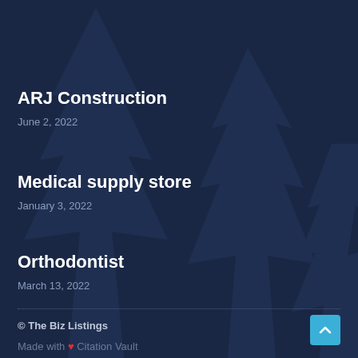ARJ Construction
June 2, 2022
Medical supply store
January 3, 2022
Orthodontist
March 13, 2022
© The Biz Listings
Made with ❤ Citation Vault